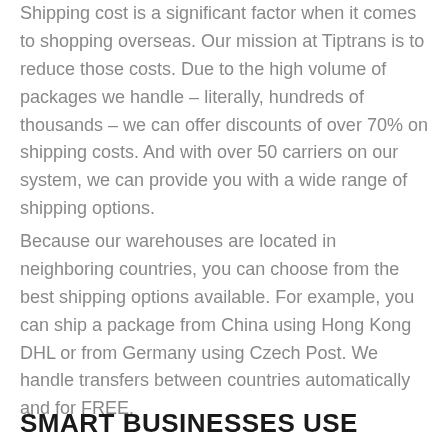Shipping cost is a significant factor when it comes to shopping overseas. Our mission at Tiptrans is to reduce those costs. Due to the high volume of packages we handle – literally, hundreds of thousands – we can offer discounts of over 70% on shipping costs. And with over 50 carriers on our system, we can provide you with a wide range of shipping options.
Because our warehouses are located in neighboring countries, you can choose from the best shipping options available. For example, you can ship a package from China using Hong Kong DHL or from Germany using Czech Post. We handle transfers between countries automatically and for FREE.
SMART BUSINESSES USE